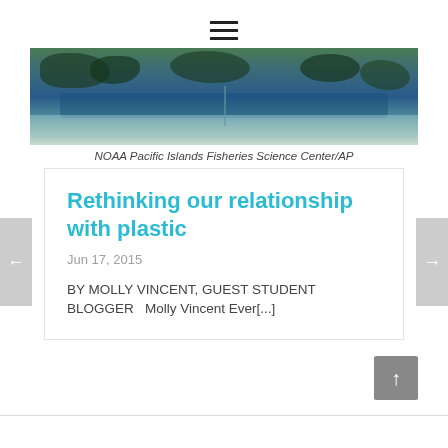[Figure (photo): Underwater/ocean scene showing coral reef or rocky seabed with water, taken by NOAA Pacific Islands Fisheries Science Center/AP]
NOAA Pacific Islands Fisheries Science Center/AP
Rethinking our relationship with plastic
Jun 17, 2015
BY MOLLY VINCENT, GUEST STUDENT BLOGGER   Molly Vincent Ever[...]